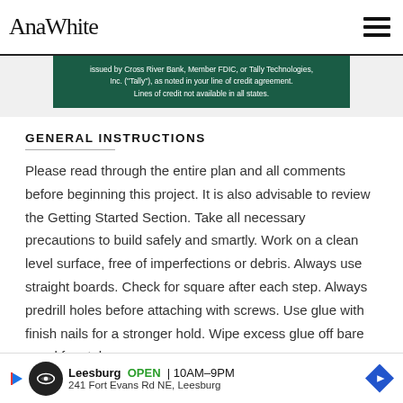AnaWhite
[Figure (screenshot): Green advertisement banner reading: issued by Cross River Bank, Member FDIC, or Tally Technologies, Inc. ("Tally"), as noted in your line of credit agreement. Lines of credit not available in all states.]
GENERAL INSTRUCTIONS
Please read through the entire plan and all comments before beginning this project. It is also advisable to review the Getting Started Section. Take all necessary precautions to build safely and smartly. Work on a clean level surface, free of imperfections or debris. Always use straight boards. Check for square after each step. Always predrill holes before attaching with screws. Use glue with finish nails for a stronger hold. Wipe excess glue off bare wood for sta...le
[Figure (screenshot): Bottom advertisement banner: Leesburg OPEN 10AM-9PM, 241 Fort Evans Rd NE, Leesburg]